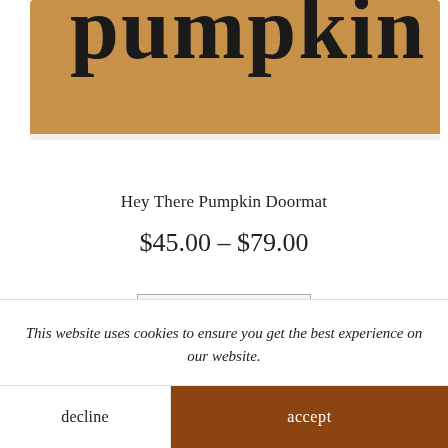[Figure (photo): Close-up photo of the bottom portion of a natural fiber doormat with cursive script text 'pumpkin' visible at the top, on a white background. The mat has a tan/brown texture.]
Hey There Pumpkin Doormat
$45.00 – $79.00
Select options
This website uses cookies to ensure you get the best experience on our website.
decline
accept